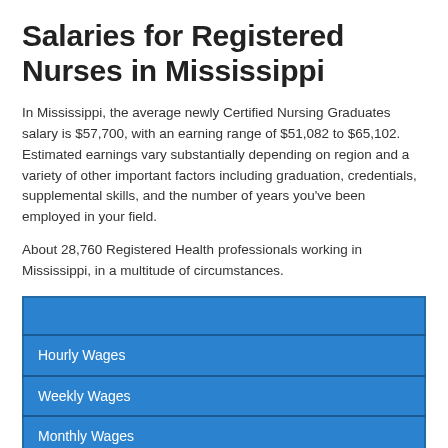Salaries for Registered Nurses in Mississippi
In Mississippi, the average newly Certified Nursing Graduates salary is $57,700, with an earning range of $51,082 to $65,102. Estimated earnings vary substantially depending on region and a variety of other important factors including graduation, credentials, supplemental skills, and the number of years you’ve been employed in your field.
About 28,760 Registered Health professionals working in Mississippi, in a multitude of circumstances.
|  |
| Hourly Wages |
| Weekly Wages |
| Monthly Wages |
|  |